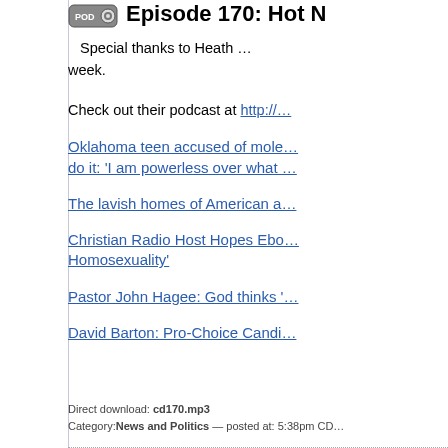Episode 170: Hot N…
Special thanks to Heath … week.
Check out their podcast at http://…
Oklahoma teen accused of mole… do it: 'I am powerless over what …
The lavish homes of American a…
Christian Radio Host Hopes Ebo… Homosexuality'
Pastor John Hagee: God thinks '…
David Barton: Pro-Choice Candi…
Direct download: cd170.mp3
Category: News and Politics — posted at: 5:38pm CD…